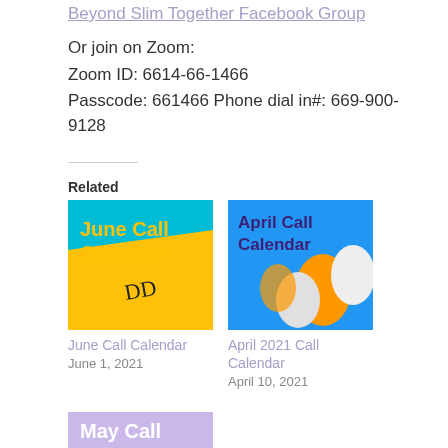Beyond Slim Together Facebook Group
Or join on Zoom:
Zoom ID: 6614-66-1466
Passcode: 661466 Phone dial in#: 669-900-9128
Related
[Figure (illustration): June Call Calendar thumbnail - teal and yellow background with text 'June Call Calendar' in yellow, handwritten 'DD' scrawled over it]
June Call Calendar
June 1, 2021
[Figure (illustration): April Call Calendar thumbnail - blue background with balloons, text 'April Call Calendar' in dark purple]
April 2021 Call Calendar
April 10, 2021
[Figure (illustration): May Call Calendar thumbnail - partial view, purple/lavender background with 'May Call' text]